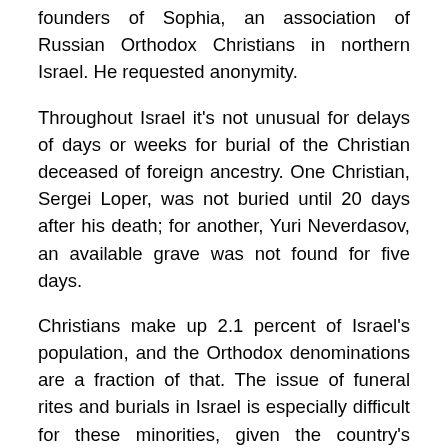founders of Sophia, an association of Russian Orthodox Christians in northern Israel. He requested anonymity.
Throughout Israel it's not unusual for delays of days or weeks for burial of the Christian deceased of foreign ancestry. One Christian, Sergei Loper, was not buried until 20 days after his death; for another, Yuri Neverdasov, an available grave was not found for five days.
Christians make up 2.1 percent of Israel's population, and the Orthodox denominations are a fraction of that. The issue of funeral rites and burials in Israel is especially difficult for these minorities, given the country's complicated ethnic and religious makeup and laws that give religious institutions control over personal matters such as weddings, births and deaths.
The faith communities of Jews and Arabs in Israel each